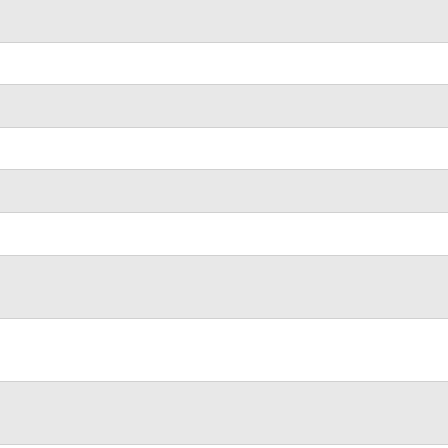| Form | Description |
| --- | --- |
| Form 14773-A | Offer in Compr... |
| Form 14773 | Offer in Compr... |
| Form 14765 | Employee Pre... |
| Form 14764 | ESRP Respon... |
| Form 14751 | Certified Profe... |
| Form 14726 | Waiver of the N... |
| Form 14708 | Streamlined D... Related to Car... |
| Form 14704 | Transmittal Sc... Relief Program... |
| Form 14693 | Application for... Whistleblower... |
| Form 14654 | Certification by... Streamlined D... |
| Form 14653 | Certification by... States for Stre... |
| Form 14652 (VN) | Civil Rights Co... |
| Form 14652 (RU) | Civil Rights Co... |
| Form 14652 (KR) | Civil Rights Co... |
| Form 14652 (EN-SP) | Civil Rights Co... |
| Form 14652 (CN) | Civil Rights Co... |